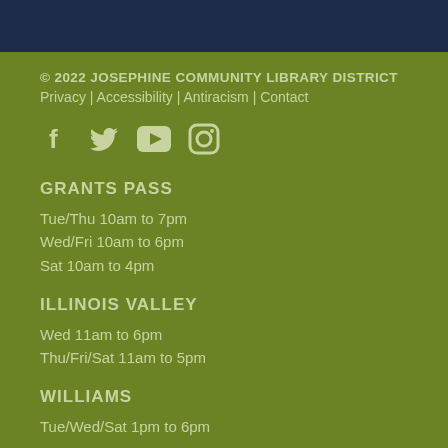© 2022 JOSEPHINE COMMUNITY LIBRARY DISTRICT
Privacy | Accessibility | Antiracism | Contact
[Figure (illustration): Social media icons: Facebook, Twitter, YouTube, Instagram]
GRANTS PASS
Tue/Thu 10am to 7pm
Wed/Fri 10am to 6pm
Sat 10am to 4pm
ILLINOIS VALLEY
Wed 11am to 6pm
Thu/Fri/Sat 11am to 5pm
WILLIAMS
Tue/Wed/Sat 1pm to 6pm